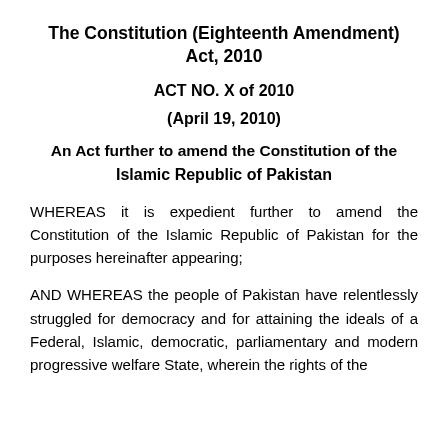The Constitution (Eighteenth Amendment) Act, 2010
ACT NO. X of 2010
(April 19, 2010)
An Act further to amend the Constitution of the Islamic Republic of Pakistan
WHEREAS it is expedient further to amend the Constitution of the Islamic Republic of Pakistan for the purposes hereinafter appearing;
AND WHEREAS the people of Pakistan have relentlessly struggled for democracy and for attaining the ideals of a Federal, Islamic, democratic, parliamentary and modern progressive welfare State, wherein the rights of the